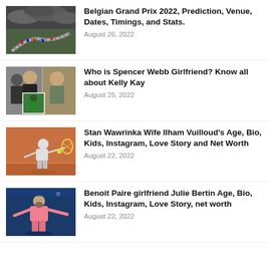[Figure (photo): Aerial view of Belgian Grand Prix race circuit with dramatic cloudy sky]
Belgian Grand Prix 2022, Prediction, Venue, Dates, Timings, and Stats.
August 26, 2022
[Figure (photo): Collage of photos showing Spencer Webb and Kelly Kay]
Who is Spencer Webb Girlfriend? Know all about Kelly Kay
August 25, 2022
[Figure (photo): Stan Wawrinka playing tennis on a clay court with orange background]
Stan Wawrinka Wife Ilham Vuilloud's Age, Bio, Kids, Instagram, Love Story and Net Worth
August 22, 2022
[Figure (photo): Benoit Paire in pink tennis outfit celebrating on court]
Benoit Paire girlfriend Julie Bertin Age, Bio, Kids, Instagram, Love Story, net worth
August 22, 2022